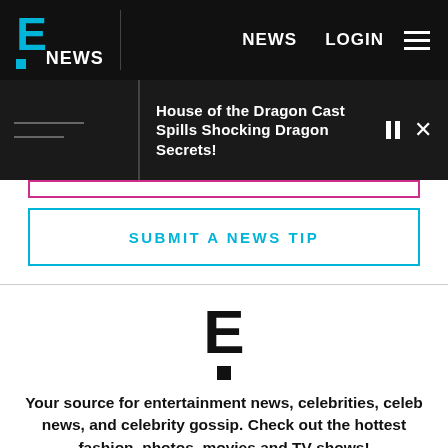E! NEWS   NEWS   LOGIN
House of the Dragon Cast Spills Shocking Dragon Secrets!
SUBMIT A NEWS TIP
[Figure (logo): E! logo mark (large E with exclamation dot)]
Your source for entertainment news, celebrities, celeb news, and celebrity gossip. Check out the hottest fashion, photos, movies and TV shows!
Do Not Sell My Personal Information | Privacy Policy | CA Notice | Terms of Service
© 2022 E! Entertainment Television, LLC A Division of NBCUniversal. All